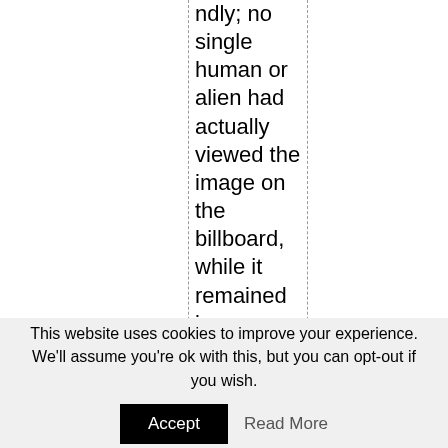ndly; no single human or alien had actually viewed the image on the billboard, while it remained in space. This
This website uses cookies to improve your experience. We'll assume you're ok with this, but you can opt-out if you wish. Accept Read More